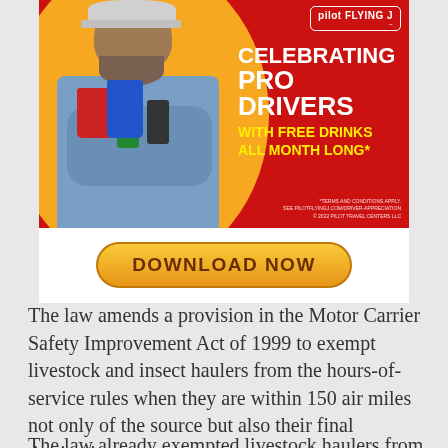[Figure (photo): Pilot Flying J advertisement: a bearded man in a plaid shirt and cap holding multiple drink cups and cans, with a yellow circle background on the left and red background on the right. Text reads 'CELEBRATING PRO DRIVERS WITH FREE DRINKS ALL MONTH LONG*'. Pilot Flying J logo in top right. Terms and conditions disclaimer at bottom right. Below the ad image is a yellow 'DOWNLOAD NOW' button.]
The law amends a provision in the Motor Carrier Safety Improvement Act of 1999 to exempt livestock and insect haulers from the hours-of-service rules when they are within 150 air miles not only of the source but also their final destination.
The law already exempted livestock haulers from